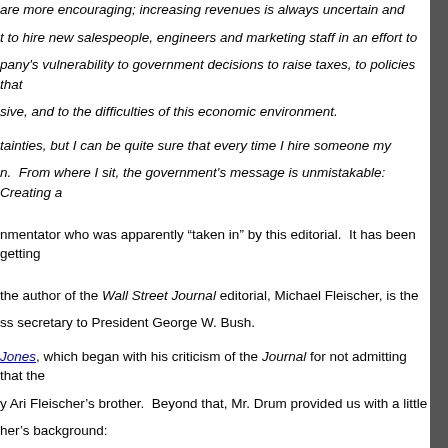are more encouraging; increasing revenues is always uncertain and t to hire new salespeople, engineers and marketing staff in an effort to pany's vulnerability to government decisions to raise taxes, to policies that sive, and to the difficulties of this economic environment.
tainties, but I can be quite sure that every time I hire someone my n. From where I sit, the government's message is unmistakable: Creating a
nmentator who was apparently “taken in” by this editorial. It has been getting
the author of the Wall Street Journal editorial, Michael Fleischer, is the ss secretary to President George W. Bush.
Jones, which began with his criticism of the Journal for not admitting that the y Ari Fleischer’s brother. Beyond that, Mr. Drum provided us with a little her’s background:
connections, was one of the squadron of free market evangelizers who e Iraqi industry after the war. We all know how well that went, which is op-eds about creeping Obama-ism for the Wall Street Journal.
ent, posted at the Outside The Beltway blog, concerning the Fleischer
pany has to buy an extra box of paper clips it will cause them to go belly